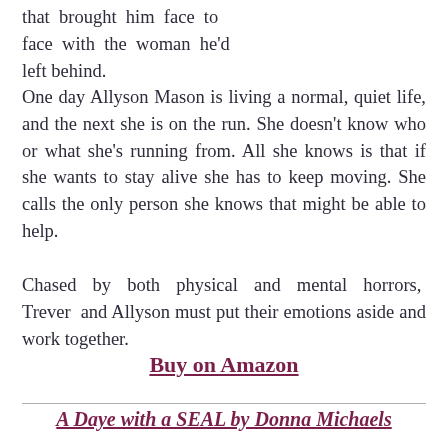that brought him face to face with the woman he'd left behind.
One day Allyson Mason is living a normal, quiet life, and the next she is on the run. She doesn't know who or what she's running from. All she knows is that if she wants to stay alive she has to keep moving. She calls the only person she knows that might be able to help.
Chased by both physical and mental horrors, Trever and Allyson must put their emotions aside and work together.
Buy on Amazon
A Daye with a SEAL by Donna Michaels